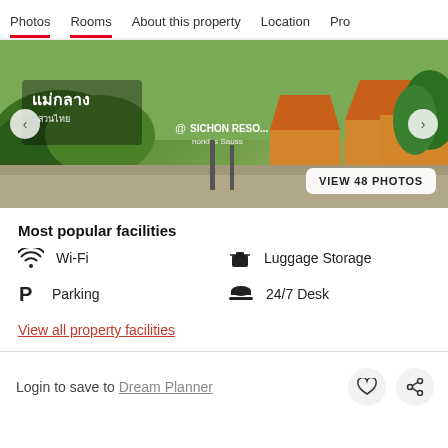Photos  Rooms  About this property  Location  Pro
[Figure (photo): Hotel/resort exterior photo showing lush green landscaping, orange-roof bungalows, a sign with Thai text and SICHON RESORT branding, with navigation arrows and a VIEW 48 PHOTOS button overlay]
Most popular facilities
Wi-Fi
Luggage Storage
Parking
24/7 Desk
View all property facilities
Login to save to Dream Planner